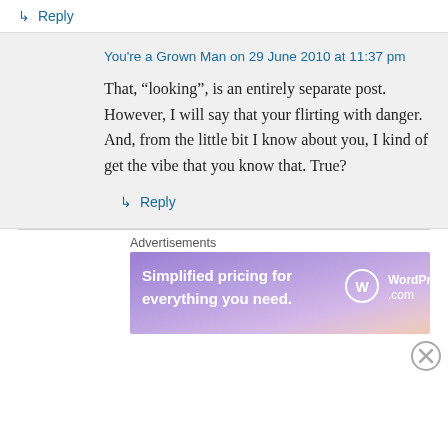↳ Reply
You're a Grown Man on 29 June 2010 at 11:37 pm
That, “looking”, is an entirely separate post. However, I will say that your flirting with danger. And, from the little bit I know about you, I kind of get the vibe that you know that. True?
↳ Reply
Advertisements
[Figure (other): WordPress.com advertisement banner: 'Simplified pricing for everything you need.' with WordPress.com logo]